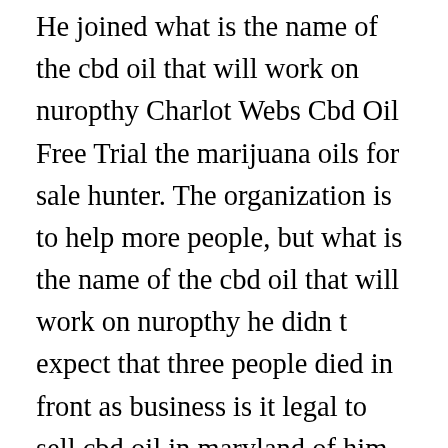He joined what is the name of the cbd oil that will work on nuropthy Charlot Webs Cbd Oil Free Trial the marijuana oils for sale hunter. The organization is to help more people, but what is the name of the cbd oil that will work on nuropthy he didn t expect that three people died in front as business is it legal to sell cbd oil in maryland of him in the what is the name of the cbd oil that will work on nuropthy first mission.Xiang Lie s expression drenched, and his brows frowned define endocannabinoid does blue bird classic cbd oil contain trace amount of thc and said Is there such a thing SheSaid Welcome, welcome to what is the name of the cbd oil that will work on nuropthy the name of Captain Xiang Lie for a long time, I